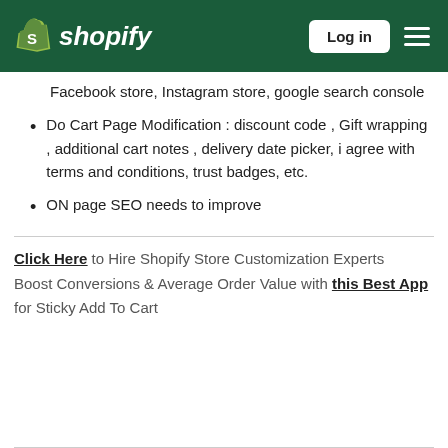shopify | Log in | menu
Facebook store, Instagram store, google search console
Do Cart Page Modification : discount code , Gift wrapping , additional cart notes , delivery date picker, i agree with terms and conditions, trust badges, etc.
ON page SEO needs to improve
Click Here to Hire Shopify Store Customization Experts
Boost Conversions & Average Order Value with this Best App for Sticky Add To Cart